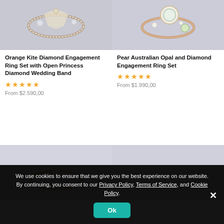[Figure (photo): Close-up photo of Orange Kite Diamond Engagement Ring Set with diamonds on a light background]
Orange Kite Diamond Engagement Ring Set with Open Princess Diamond Wedding Band
★★★★★
From $2.590,00
[Figure (photo): Close-up photo of Pear Australian Opal and Diamond Engagement Ring Set on a light background]
Pear Australian Opal and Diamond Engagement Ring Set
★★★★★
From $1.990,00
[Figure (photo): Close-up photo of a rose gold ring with diamond on a light background]
[Figure (photo): Close-up photo of a white gold chevron/wishbone ring with diamond on a light background]
We use cookies to ensure that we give you the best experience on our website. By continuing, you consent to our Privacy Policy, Terms of Service, and Cookie Policy.
Ok